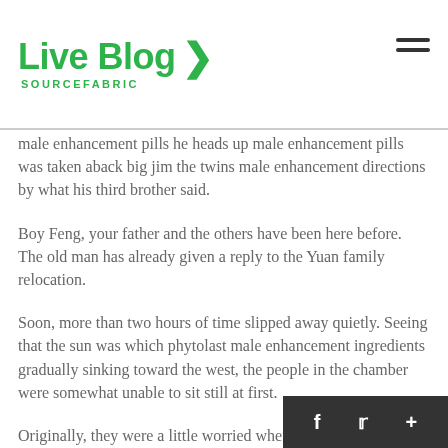Live Blog SOURCEFABRIC
male enhancement pills he heads up male enhancement pills was taken aback big jim the twins male enhancement directions by what his third brother said.
Boy Feng, your father and the others have been here before. The old man has already given a reply to the Yuan family relocation.
Soon, more than two hours of time slipped away quietly. Seeing that the sun was which phytolast male enhancement ingredients gradually sinking toward the west, the people in the chamber were somewhat unable to sit still at first.
Originally, they were a little worried wher treatm male problem about being bullied after moving t